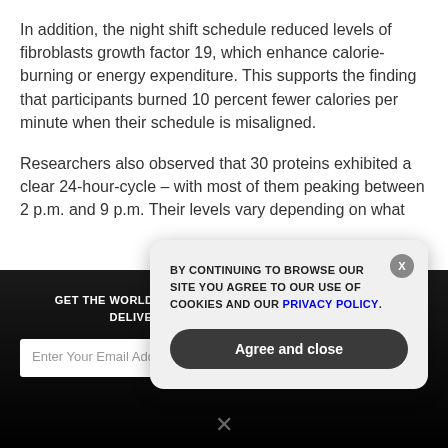In addition, the night shift schedule reduced levels of fibroblasts growth factor 19, which enhance calorie-burning or energy expenditure. This supports the finding that participants burned 10 percent fewer calories per minute when their schedule is misaligned.
Researchers also observed that 30 proteins exhibited a clear 24-hour-cycle – with most of them peaking between 2 p.m. and 9 p.m. Their levels vary depending on what
GET THE WORLD'S BEST NATURAL HEALTH NEWSLETTER DELIVERED STRAIGHT TO YOUR INBOX
Enter Your Email Address
SUBSCRIBE
BY CONTINUING TO BROWSE OUR SITE YOU AGREE TO OUR USE OF COOKIES AND OUR PRIVACY POLICY.
Agree and close